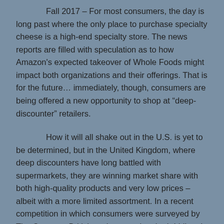Fall 2017 – For most consumers, the day is long past where the only place to purchase specialty cheese is a high-end specialty store. The news reports are filled with speculation as to how Amazon's expected takeover of Whole Foods might impact both organizations and their offerings. That is for the future… immediately, though, consumers are being offered a new opportunity to shop at "deep-discounter" retailers.

How it will all shake out in the U.S. is yet to be determined, but in the United Kingdom, where deep discounters have long battled with supermarkets, they are winning market share with both high-quality products and very low prices – albeit with a more limited assortment. In a recent competition in which consumers were surveyed by The Grocer, a British trade magazine, both Lidl and Aldi beat out British supermarkets, including high-end stores such as Marks & Spencer, for having the best private label specialty cheeses. And the prices weren't even close. For example, the "Category Champion" in Brie was described this way: